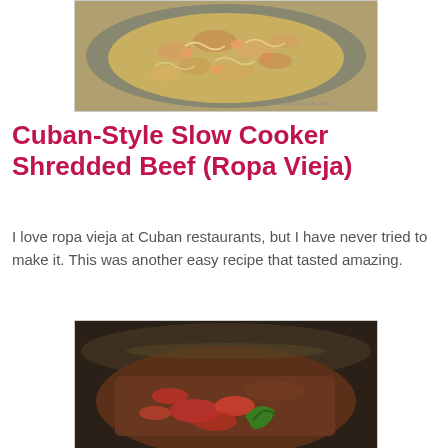[Figure (photo): Overhead photo of a pan of shrimp pasta/noodles with shrimp in a creamy sauce]
Cuban-Style Slow Cooker Shredded Beef (Ropa Vieja)
I love ropa vieja at Cuban restaurants, but I have never tried to make it. This was another easy recipe that tasted amazing.
[Figure (photo): Close-up photo of a slow cooker or pan with shredded beef, vegetables including green pepper and tomatoes (Ropa Vieja)]